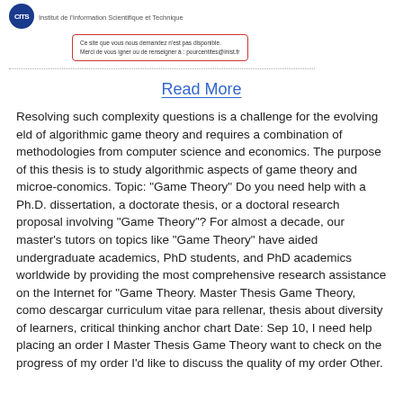CITS - Institut de l'Information Scientifique et Technique
Ce site que vous nous demandez n'est pas disponible. Merci de vous igner ou de renseigner à : pourcentites@inist.fr
Read More
Resolving such complexity questions is a challenge for the evolving eld of algorithmic game theory and requires a combination of methodologies from computer science and economics. The purpose of this thesis is to study algorithmic aspects of game theory and microe-conomics. Topic: "Game Theory" Do you need help with a Ph.D. dissertation, a doctorate thesis, or a doctoral research proposal involving "Game Theory"? For almost a decade, our master's tutors on topics like "Game Theory" have aided undergraduate academics, PhD students, and PhD academics worldwide by providing the most comprehensive research assistance on the Internet for "Game Theory. Master Thesis Game Theory, como descargar curriculum vitae para rellenar, thesis about diversity of learners, critical thinking anchor chart Date: Sep 10, I need help placing an order I Master Thesis Game Theory want to check on the progress of my order I'd like to discuss the quality of my order Other.